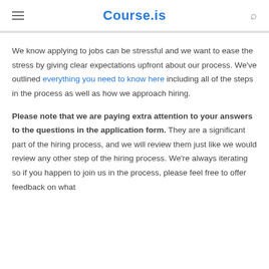Course.is
We know applying to jobs can be stressful and we want to ease the stress by giving clear expectations upfront about our process. We've outlined everything you need to know here including all of the steps in the process as well as how we approach hiring.
Please note that we are paying extra attention to your answers to the questions in the application form. They are a significant part of the hiring process, and we will review them just like we would review any other step of the hiring process. We're always iterating so if you happen to join us in the process, please feel free to offer feedback on what